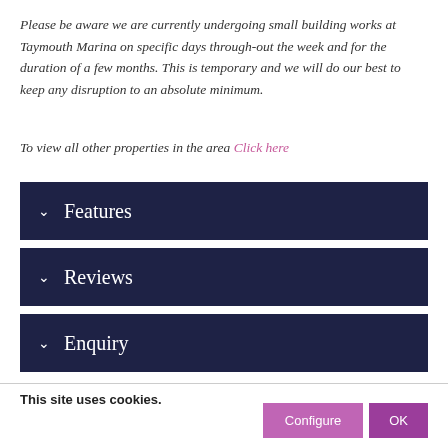Please be aware we are currently undergoing small building works at Taymouth Marina on specific days through-out the week and for the duration of a few months. This is temporary and we will do our best to keep any disruption to an absolute minimum.
To view all other properties in the area Click here
Features
Reviews
Enquiry
This site uses cookies.